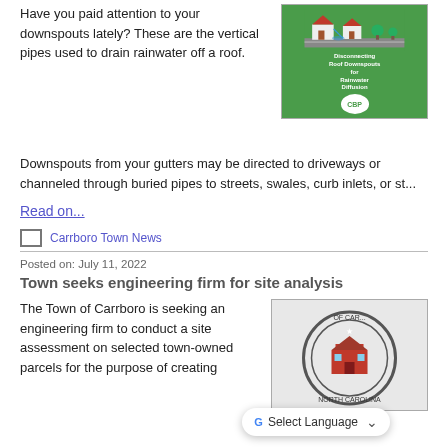Have you paid attention to your downspouts lately? These are the vertical pipes used to drain rainwater off a roof.
[Figure (illustration): Green informational graphic about disconnecting roof downspouts for rainwater diffusion, with CBP logo]
Downspouts from your gutters may be directed to driveways or channeled through buried pipes to streets, swales, curb inlets, or st...
Read on...
Carrboro Town News
Posted on: July 11, 2022
Town seeks engineering firm for site analysis
The Town of Carrboro is seeking an engineering firm to conduct a site assessment on selected town-owned parcels for the purpose of creating
[Figure (logo): Carrboro North Carolina town seal/logo]
Select Language